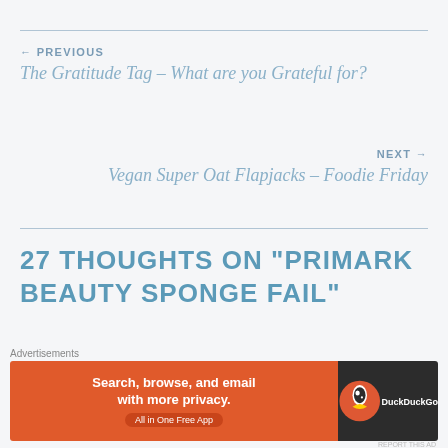← PREVIOUS
The Gratitude Tag – What are you Grateful for?
NEXT →
Vegan Super Oat Flapjacks – Foodie Friday
27 THOUGHTS ON "PRIMARK BEAUTY SPONGE FAIL"
carlyspeir
FEBRUARY 22, 2017 AT 5:26 PM
[Figure (photo): Circular avatar photo of blonde woman]
Advertisements
[Figure (screenshot): DuckDuckGo advertisement banner: Search, browse, and email with more privacy. All in One Free App]